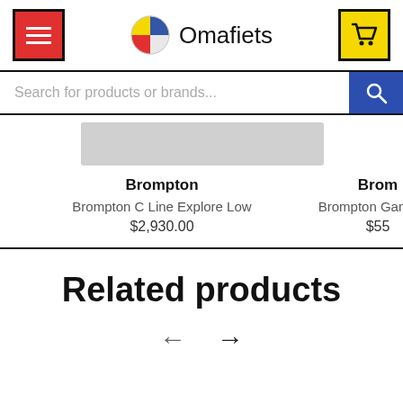Omafiets
Search for products or brands...
Brompton
Brompton C Line Explore Low
$2,930.00
Brompton Game Ba...
$55...
Related products